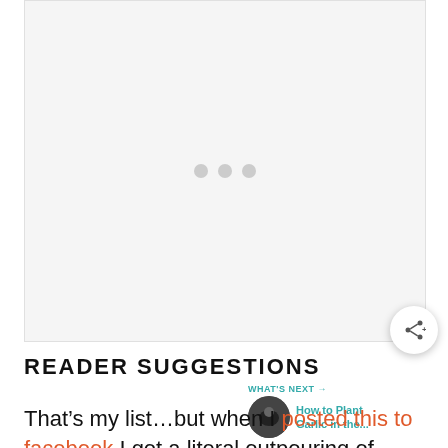[Figure (other): Advertisement placeholder with three grey dots in the center on a light grey background]
READER SUGGESTIONS
That’s my list…but when I posted this to facebook I got a literal outpouring of